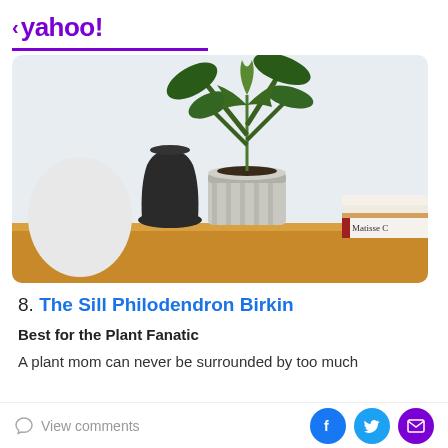< yahoo!
[Figure (photo): A shelf scene with a white ceramic cylindrical planter holding a large-leafed green plant, a black matte vase, a white round object on the left, and two stacked books labeled 'Jean Royère' and 'Matisse C' on the right. The shelf is warm wood-toned.]
8. The Sill Philodendron Birkin
Best for the Plant Fanatic
A plant mom can never be surrounded by too much
View comments